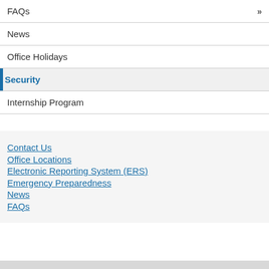FAQs »
News
Office Holidays
Security
Internship Program
Contact Us
Office Locations
Electronic Reporting System (ERS)
Emergency Preparedness
News
FAQs